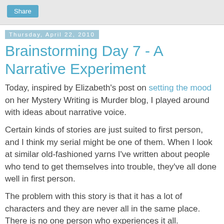Share
Thursday, April 22, 2010
Brainstorming Day 7 - A Narrative Experiment
Today, inspired by Elizabeth's post on setting the mood on her Mystery Writing is Murder blog, I played around with ideas about narrative voice.
Certain kinds of stories are just suited to first person, and I think my serial might be one of them. When I look at similar old-fashioned yarns I've written about people who tend to get themselves into trouble, they've all done well in first person.
The problem with this story is that it has a lot of characters and they are never all in the same place. There is no one person who experiences it all. Furthermore, as I think through this, ALL of the characters want to tell me their stories. Even those characters who barely speak English.